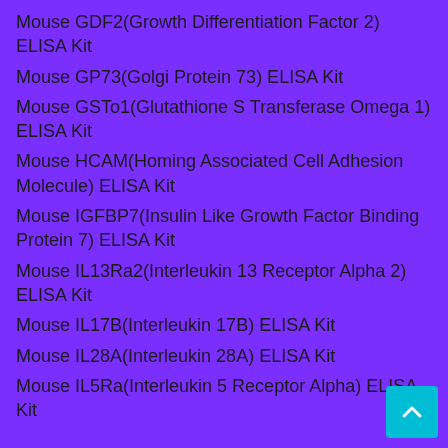Mouse GDF2(Growth Differentiation Factor 2) ELISA Kit
Mouse GP73(Golgi Protein 73) ELISA Kit
Mouse GSTo1(Glutathione S Transferase Omega 1) ELISA Kit
Mouse HCAM(Homing Associated Cell Adhesion Molecule) ELISA Kit
Mouse IGFBP7(Insulin Like Growth Factor Binding Protein 7) ELISA Kit
Mouse IL13Ra2(Interleukin 13 Receptor Alpha 2) ELISA Kit
Mouse IL17B(Interleukin 17B) ELISA Kit
Mouse IL28A(Interleukin 28A) ELISA Kit
Mouse IL5Ra(Interleukin 5 Receptor Alpha) ELISA Kit